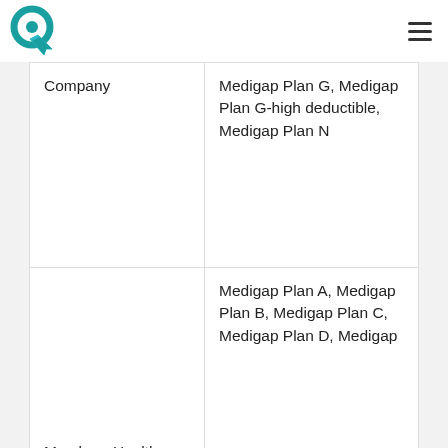Logo and navigation header
| Company | Plans Available |
| --- | --- |
| Company | Medigap Plan G, Medigap Plan G-high deductible, Medigap Plan N |
| Members Health Insurance Company | Medigap Plan A, Medigap Plan B, Medigap Plan C, Medigap Plan D, Medigap… |